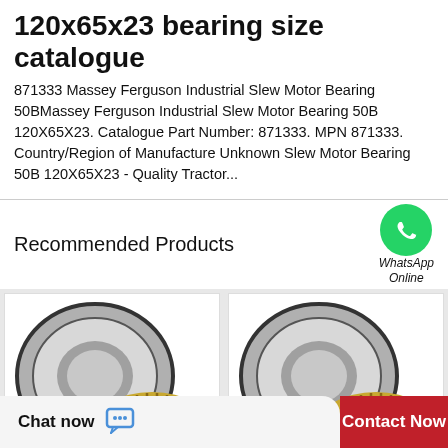120x65x23 bearing size catalogue
871333 Massey Ferguson Industrial Slew Motor Bearing 50BMassey Ferguson Industrial Slew Motor Bearing 50B 120X65X23. Catalogue Part Number: 871333. MPN 871333. Country/Region of Manufacture Unknown Slew Motor Bearing 50B 120X65X23 - Quality Tractor...
Recommended Products
[Figure (photo): WhatsApp Online icon - green circle with phone handset]
[Figure (photo): Thrust bearing product photo showing metal rings and gold cage - left product]
[Figure (photo): Thrust bearing product photo showing metal rings and gold cage - right product]
Chat now
Contact Now